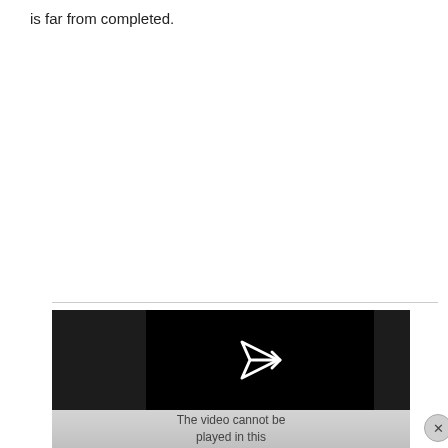is far from completed.
[Figure (screenshot): A video player showing a black screen with a white play/arrow icon in the center. Below the player is a gray notification bar with text 'The video cannot be played in this'. A close (X) button appears at the bottom right corner.]